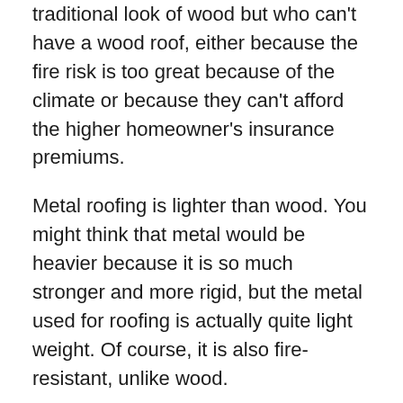traditional look of wood but who can't have a wood roof, either because the fire risk is too great because of the climate or because they can't afford the higher homeowner's insurance premiums.
Metal roofing is lighter than wood. You might think that metal would be heavier because it is so much stronger and more rigid, but the metal used for roofing is actually quite light weight. Of course, it is also fire-resistant, unlike wood.
You will have to hire a structural engineer if you want to make the switch from shingle to tile roofing in Phoenix. That's because tile weighs a lot more than